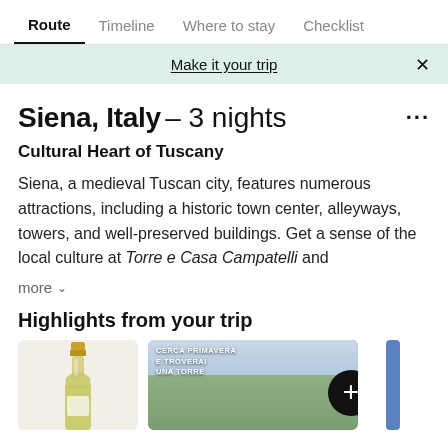Route | Timeline | Where to stay | Checklist
Make it your trip
Siena, Italy – 3 nights
Cultural Heart of Tuscany
Siena, a medieval Tuscan city, features numerous attractions, including a historic town center, alleyways, towers, and well-preserved buildings. Get a sense of the local culture at Torre e Casa Campatelli and
more
Highlights from your trip
[Figure (photo): Wine bottle (white wine) and a tower landscape image with Italian text 'CERCA PRIMAVERA E TROVERAI UNA TORRE' with a plus button overlay]